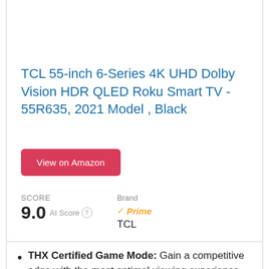TCL 55-inch 6-Series 4K UHD Dolby Vision HDR QLED Roku Smart TV - 55R635, 2021 Model , Black
View on Amazon
SCORE
9.0  AI Score
Brand  ✓Prime
TCL
THX Certified Game Mode: Gain a competitive edge with the most optimal viewing experience for big screen gaming; never miss the action due to image smear, response time, or input lag, and enjoy the game as it was intended by the